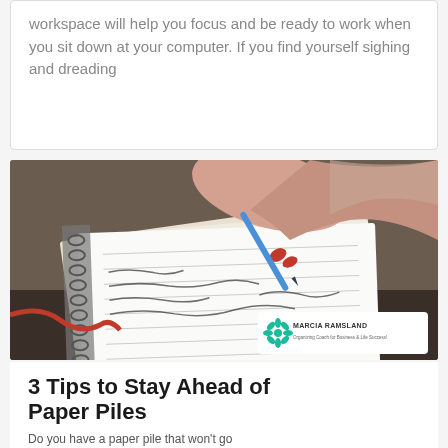workspace will help you focus and be ready to work when you sit down at your computer. If you find yourself sighing and dreading
[Figure (photo): A woman's hand with red nail polish holding a blue pen and writing in a spiral-bound notebook. A Marcia Ramsland logo overlay appears in the bottom right corner of the image.]
3 Tips to Stay Ahead of Paper Piles
Do you have a paper pile that won't go